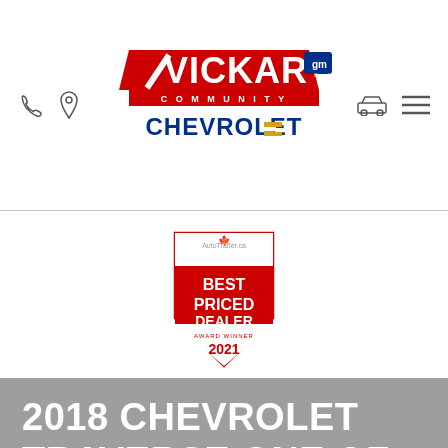[Figure (logo): Vickar Community Chevrolet dealership logo with GM Canada badge and Chevrolet bowtie emblem]
[Figure (logo): AutoTrader.ca Best Priced Dealer Award Winner 2021 badge]
2018 CHEVROLET TRAVERSE ONE OF THE MOST SPACIOUS FULL-